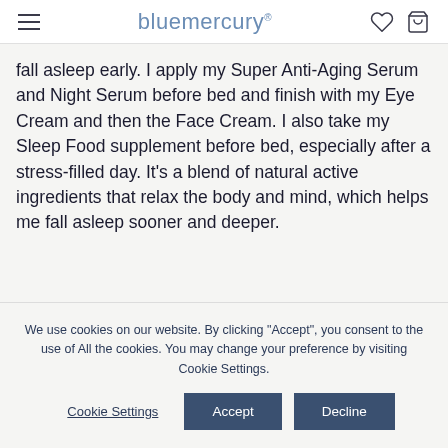bluemercury
fall asleep early. I apply my Super Anti-Aging Serum and Night Serum before bed and finish with my Eye Cream and then the Face Cream. I also take my Sleep Food supplement before bed, especially after a stress-filled day. It’s a blend of natural active ingredients that relax the body and mind, which helps me fall asleep sooner and deeper.
We use cookies on our website. By clicking "Accept", you consent to the use of All the cookies. You may change your preference by visiting Cookie Settings.